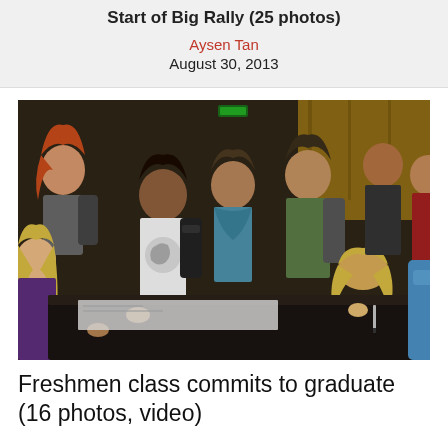Start of Big Rally (25 photos)
Aysen Tan
August 30, 2013
[Figure (photo): Group of high school students gathered around a table, some bending over to sign something on a dark surface. Students wearing backpacks in an indoor setting.]
Freshmen class commits to graduate (16 photos, video)